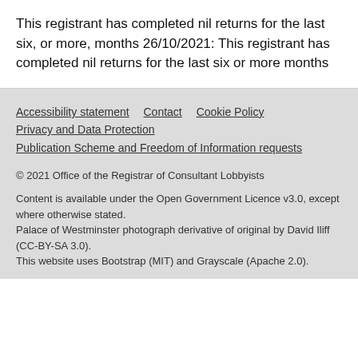This registrant has completed nil returns for the last six, or more, months 26/10/2021: This registrant has completed nil returns for the last six or more months
Accessibility statement   Contact   Cookie Policy   Privacy and Data Protection   Publication Scheme and Freedom of Information requests

© 2021 Office of the Registrar of Consultant Lobbyists

Content is available under the Open Government Licence v3.0, except where otherwise stated.
Palace of Westminster photograph derivative of original by David Iliff (CC-BY-SA 3.0).
This website uses Bootstrap (MIT) and Grayscale (Apache 2.0).